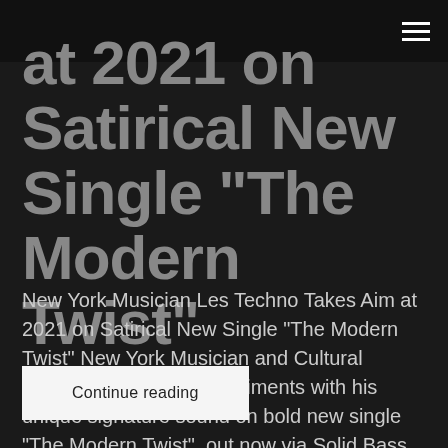at 2021 on Satirical New Single “The Modern Twist”
New York Musician Les Techno Takes Aim at 2021 on Satirical New Single “The Modern Twist” New York Musician and Cultural Satirist Les Techno experiments with his unique signature sound on bold new single “The Modern Twist”, out now via Solid Bass Records. The smart lyricism adeptly points out that we are faced with the…
Continue reading